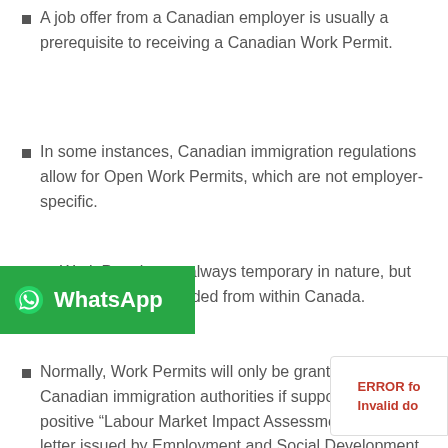A job offer from a Canadian employer is usually a prerequisite to receiving a Canadian Work Permit.
In some instances, Canadian immigration regulations allow for Open Work Permits, which are not employer-specific.
Work Permits are always temporary in nature, but can often be extended from within Canada.
Normally, Work Permits will only be granted by Canadian immigration authorities if supported by a positive “Labour Market Impact Assessment” (LMIA) letter issued by Employment and Social Development Canada (ESDC), indicating that the proposed employment will not adversely affect Canadian